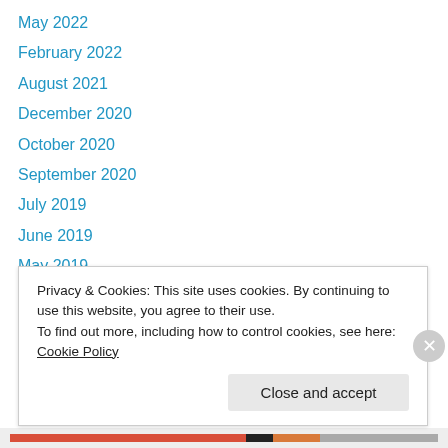May 2022
February 2022
August 2021
December 2020
October 2020
September 2020
July 2019
June 2019
May 2019
April 2019
January 2019
November 2018
April 2018
Privacy & Cookies: This site uses cookies. By continuing to use this website, you agree to their use.
To find out more, including how to control cookies, see here: Cookie Policy